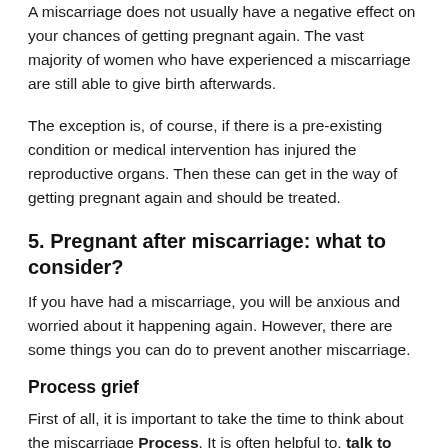A miscarriage does not usually have a negative effect on your chances of getting pregnant again. The vast majority of women who have experienced a miscarriage are still able to give birth afterwards.
The exception is, of course, if there is a pre-existing condition or medical intervention has injured the reproductive organs. Then these can get in the way of getting pregnant again and should be treated.
5. Pregnant after miscarriage: what to consider?
If you have had a miscarriage, you will be anxious and worried about it happening again. However, there are some things you can do to prevent another miscarriage.
Process grief
First of all, it is important to take the time to think about the miscarriage Process. It is often helpful to, talk to others about it. Try to confide in your friends or women in your